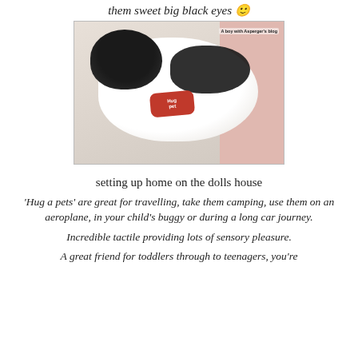them sweet big black eyes 🙂
[Figure (photo): A stuffed animal (Hug a Pet) black and white plush toy sitting on a dolls house, with a red bone-shaped tag. Watermark reads 'A boy with Asperger's blog'.]
setting up home on the dolls house
'Hug a pets' are great for travelling, take them camping, use them on an aeroplane, in your child's buggy or during a long car journey.
Incredible tactile providing lots of sensory pleasure.
A great friend for toddlers through to teenagers, you're